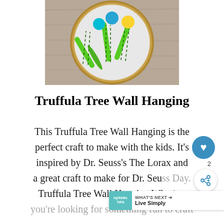[Figure (photo): Embroidery hoop craft showing green felt Truffula trees with dark green stitching and colorful pom-pom tops (teal, blue, yellow) on white fabric, placed on a wooden surface]
Truffula Tree Wall Hanging
This Truffula Tree Wall Hanging is the perfect craft to make with the kids. It's inspired by Dr. Seuss's The Lorax and a great craft to make for Dr. Seuss Day. Truffula Tree Wall Hanging Whether you're looking for something fun to craft